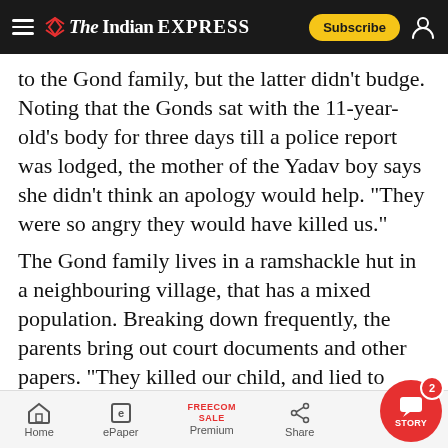The Indian Express — Subscribe
to the Gond family, but the latter didn’t budge. Noting that the Gonds sat with the 11-year-old’s body for three days till a police report was lodged, the mother of the Yadav boy says she didn’t think an apology would help. “They were so angry they would have killed us.”
The Gond family lives in a ramshackle hut in a neighbouring village, that has a mixed population. Breaking down frequently, the parents bring out court documents and other papers. “They killed our child, and lied to us… Why have the teachers and principal not been arrested?” asks the f
Home | ePaper | Premium | Share | STORY